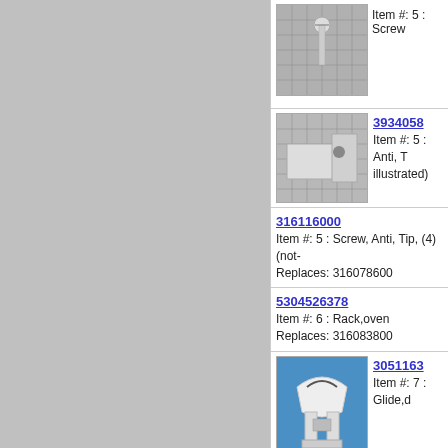[Figure (photo): Screw part photo on grid background, item 5]
Item #: 5 : Screw
[Figure (photo): Anti-tip part photo on grid background]
3934058
Item #: 5 : Anti, T (not illustrated)
316116000
Item #: 5 : Screw, Anti, Tip, (4) (not-illustrated)
Replaces: 316078600
5304526378
Item #: 6 : Rack,oven
Replaces: 316083800
[Figure (photo): Glide/drawer part photo on blue background, item 7]
3051163
Item #: 7 : Glide,d
316007005
Item #: 7 : Hinge-oven Door, (2)
[Figure (photo): Clip part photo on blue background, item 7]
3203010
Item #: 7 : Clip, (not Illustrated)